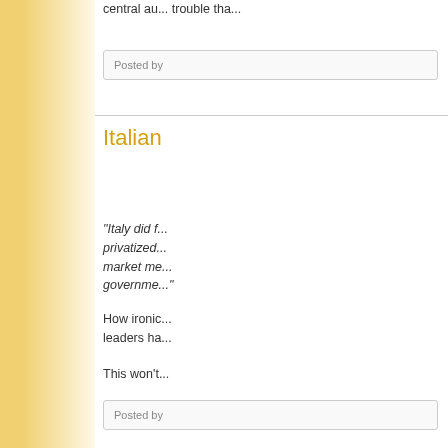central au... trouble tha...
Posted by
Italian
"Italy did f... privatized... market me... governme...
How ironic... leaders ha...
This won't...
Posted by